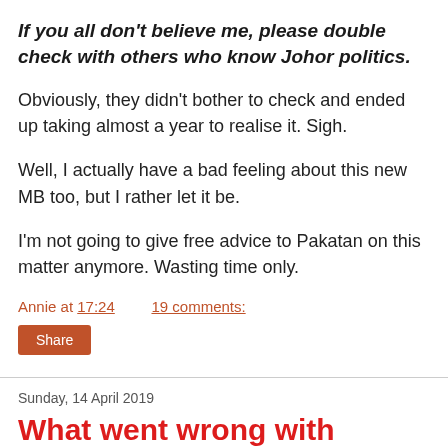If you all don't believe me, please double check with others who know Johor politics.
Obviously, they didn't bother to check and ended up taking almost a year to realise it. Sigh.
Well, I actually have a bad feeling about this new MB too, but I rather let it be.
I'm not going to give free advice to Pakatan on this matter anymore. Wasting time only.
Annie at 17:24    19 comments:
Share
Sunday, 14 April 2019
What went wrong with Pakatan in Rantau...among others